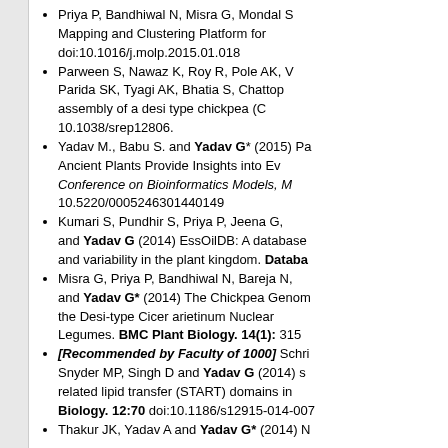Priya P, Bandhiwal N, Misra G, Mondal S... Mapping and Clustering Platform for... doi:10.1016/j.molp.2015.01.018
Parween S, Nawaz K, Roy R, Pole AK, V... Parida SK, Tyagi AK, Bhatia S, Chattop... assembly of a desi type chickpea (C... 10.1038/srep12806.
Yadav M., Babu S. and Yadav G* (2015) Pa... Ancient Plants Provide Insights into Ev... Conference on Bioinformatics Models, M... 10.5220/0005246301440149
Kumari S, Pundhir S, Priya P, Jeena G,... and Yadav G (2014) EssOilDB: A database... and variability in the plant kingdom. Databa...
Misra G, Priya P, Bandhiwal N, Bareja N,... and Yadav G* (2014) The Chickpea Genom... the Desi-type Cicer arietinum Nuclear... Legumes. BMC Plant Biology. 14(1): 315
[Recommended by Faculty of 1000] Schri... Snyder MP, Singh D and Yadav G (2014) s... related lipid transfer (START) domains in... Biology. 12:70 doi:10.1186/s12915-014-007...
Thakur JK, Yadav A and Yadav G* (2014) ...